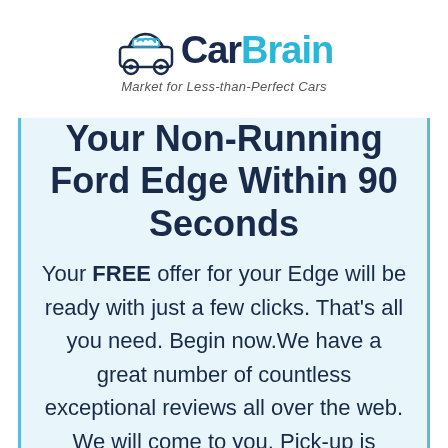[Figure (logo): CarBrain logo with car icon and tagline 'Market for Less-than-Perfect Cars']
Your Non-Running Ford Edge Within 90 Seconds
Your FREE offer for your Edge will be ready with just a few clicks. That's all you need. Begin now.We have a great number of countless exceptional reviews all over the web. We will come to you. Pick-up is FREE. Title